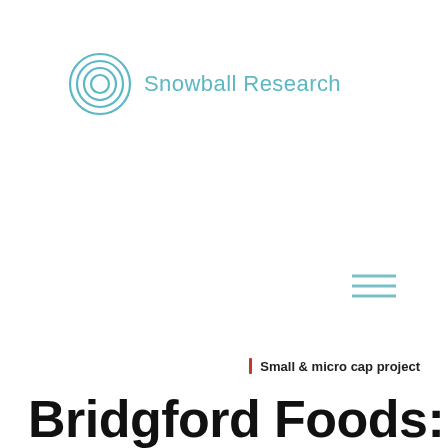[Figure (logo): Snowball Research logo: concentric teal circles icon followed by the text 'Snowball Research' in teal]
[Figure (other): Hamburger menu icon (three horizontal teal lines)]
| Small & micro cap project
Bridgford Foods: